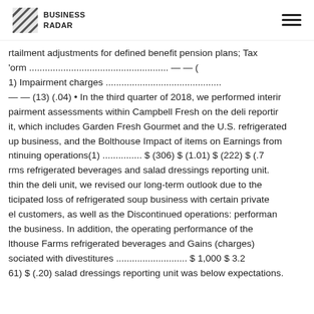BUSINESS RADAR
rtailment adjustments for defined benefit pension plans; Tax form ............................................. — — ( 1) Impairment charges .............................................. — — (13) (.04) • In the third quarter of 2018, we performed interim pairment assessments within Campbell Fresh on the deli reporting it, which includes Garden Fresh Gourmet and the U.S. refrigerated up business, and the Bolthouse Impact of items on Earnings from ntinuing operations(1) ............... $ (306) $ (1.01) $ (222) $ (.7 rms refrigerated beverages and salad dressings reporting unit. thin the deli unit, we revised our long-term outlook due to the ticipated loss of refrigerated soup business with certain private el customers, as well as the Discontinued operations: performance the business. In addition, the operating performance of the lthouse Farms refrigerated beverages and Gains (charges) sociated with divestitures ........................... $ 1,000 $ 3.2 61) $ (.20) salad dressings reporting unit was below expectations.